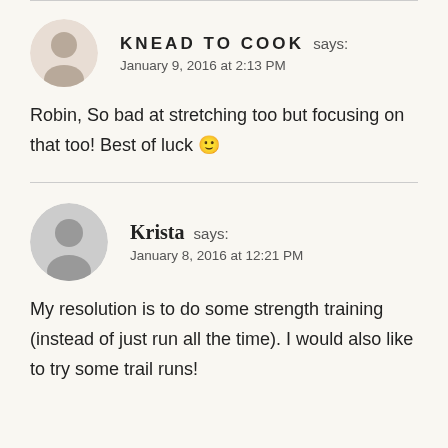KNEAD TO COOK says:
January 9, 2016 at 2:13 PM
Robin, So bad at stretching too but focusing on that too! Best of luck 🙂
Krista says:
January 8, 2016 at 12:21 PM
My resolution is to do some strength training (instead of just run all the time). I would also like to try some trail runs!